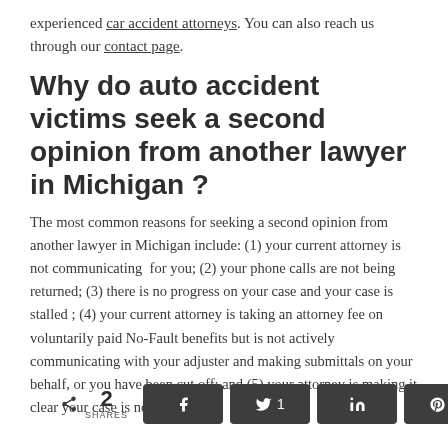experienced car accident attorneys. You can also reach us through our contact page.
Why do auto accident victims seek a second opinion from another lawyer in Michigan ?
The most common reasons for seeking a second opinion from another lawyer in Michigan include: (1) your current attorney is not communicating  for you; (2) your phone calls are not being returned; (3) there is no progress on your case and your case is stalled ; (4) your current attorney is taking an attorney fee on voluntarily paid No-Fault benefits but is not actively communicating with your adjuster and making submittals on your behalf, or you have been cut off; and (5) your attorney is making it clear your case is not a priority.
< 2 SHARES [social share buttons: Facebook, Twitter 1, LinkedIn, Pinterest 1, Email]